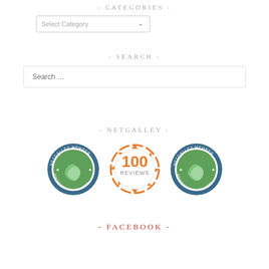- CATEGORIES -
[Figure (screenshot): Dropdown select box labeled 'Select Category']
- SEARCH -
[Figure (screenshot): Search input box with placeholder 'Search ...']
- NETGALLEY -
[Figure (illustration): Three NetGalley badges: NetGalley Member Professional Reader badge (left), 100 Reviews badge (center, orange), NetGalley Member Professional Reader badge (right)]
- FACEBOOK -